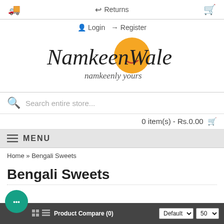🚚  ↩ Returns  🛒
👤 Login → Register
[Figure (logo): NamkeenWale logo with orange sun design and tagline 'namkeenly yours']
Search entire store...
0 item(s) - Rs.0.00 🛒
≡ MENU
Home » Bengali Sweets
Bengali Sweets
Product Compare (0)  Default ▼  50 ▼